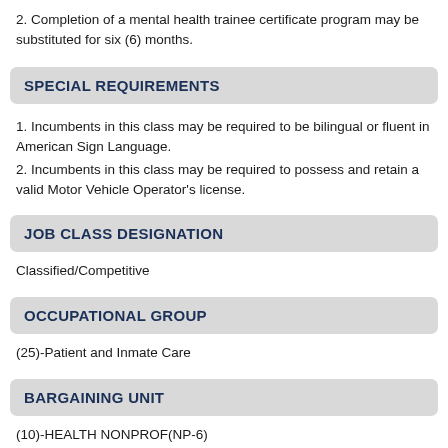2. Completion of a mental health trainee certificate program may be substituted for six (6) months.
SPECIAL REQUIREMENTS
1. Incumbents in this class may be required to be bilingual or fluent in American Sign Language.
2. Incumbents in this class may be required to possess and retain a valid Motor Vehicle Operator's license.
JOB CLASS DESIGNATION
Classified/Competitive
OCCUPATIONAL GROUP
(25)-Patient and Inmate Care
BARGAINING UNIT
(10)-HEALTH NONPROF(NP-6)
EEO